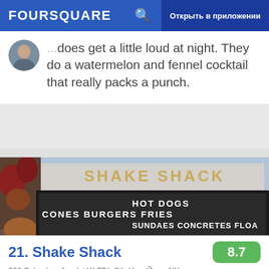FOURSQUARE  Открыть в приложении
...does get a little loud at night. They do a watermelon and fennel cocktail that really packs a punch.
[Figure (photo): Exterior photo of Shake Shack restaurant showing awning with text: CONES BURGERS FRIES HOT DOGS SUNDAES CONCRETES FLOATS]
21. Shake Shack
366 Columbus Ave (at W 77th St), Нью-Йорк, NY
Закусочная с бургерами · Upper West Side ·
Подсказок и отзывов: 508